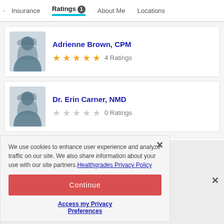Insurance   Ratings 1   About Me   Locations
Adrienne Brown, CPM — 4 Ratings (5 stars filled)
Dr. Erin Carner, NMD — 0 Ratings (0 stars)
We use cookies to enhance user experience and analyze traffic on our site. We also share information about your use with our site partners. Healthgrades Privacy Policy
Continue
Access my Privacy Preferences